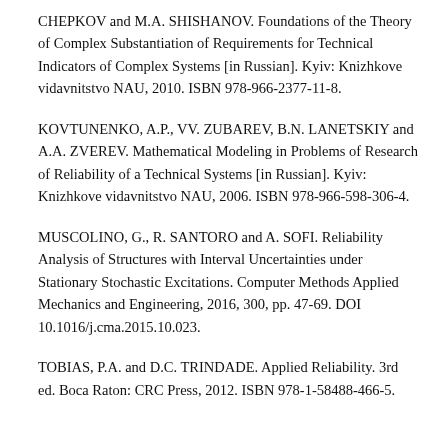CHEPKOV and M.A. SHISHANOV. Foundations of the Theory of Complex Substantiation of Requirements for Technical Indicators of Complex Systems [in Russian]. Kyiv: Knizhkove vidavnitstvo NAU, 2010. ISBN 978-966-2377-11-8.
KOVTUNENKO, A.P., VV. ZUBAREV, B.N. LANETSKIY and A.A. ZVEREV. Mathematical Modeling in Problems of Research of Reliability of a Technical Systems [in Russian]. Kyiv: Knizhkove vidavnitstvo NAU, 2006. ISBN 978-966-598-306-4.
MUSCOLINO, G., R. SANTORO and A. SOFI. Reliability Analysis of Structures with Interval Uncertainties under Stationary Stochastic Excitations. Computer Methods Applied Mechanics and Engineering, 2016, 300, pp. 47-69. DOI 10.1016/j.cma.2015.10.023.
TOBIAS, P.A. and D.C. TRINDADE. Applied Reliability. 3rd ed. Boca Raton: CRC Press, 2012. ISBN 978-1-58488-466-5.